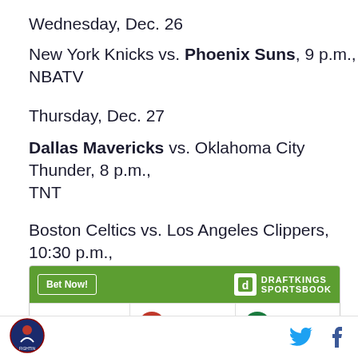Wednesday, Dec. 26
New York Knicks vs. Phoenix Suns, 9 p.m., NBATV
Thursday, Dec. 27
Dallas Mavericks vs. Oklahoma City Thunder, 8 p.m., TNT
Boston Celtics vs. Los Angeles Clippers, 10:30 p.m., TNT
[Figure (screenshot): DraftKings Sportsbook widget showing a 'Bet Now!' button and a game row: 10/18, 11:30p — PHI vs BOS]
Site logo on left; Twitter and Facebook icons on right